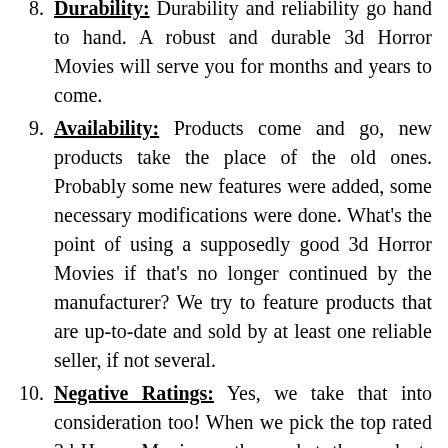8. Durability: Durability and reliability go hand to hand. A robust and durable 3d Horror Movies will serve you for months and years to come.
9. Availability: Products come and go, new products take the place of the old ones. Probably some new features were added, some necessary modifications were done. What's the point of using a supposedly good 3d Horror Movies if that's no longer continued by the manufacturer? We try to feature products that are up-to-date and sold by at least one reliable seller, if not several.
10. Negative Ratings: Yes, we take that into consideration too! When we pick the top rated 3d Horror Movies on the market, the products that got mostly negative ratings